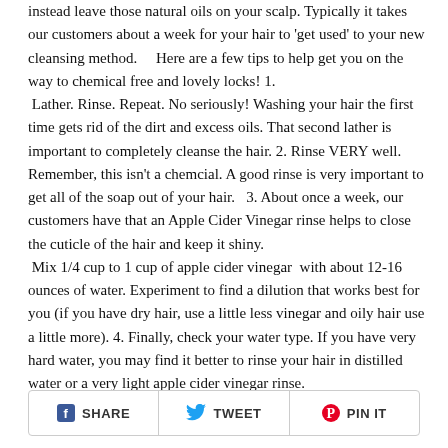instead leave those natural oils on your scalp. Typically it takes our customers about a week for your hair to 'get used' to your new cleansing method. Here are a few tips to help get you on the way to chemical free and lovely locks! 1. Lather. Rinse. Repeat. No seriously! Washing your hair the first time gets rid of the dirt and excess oils. That second lather is important to completely cleanse the hair. 2. Rinse VERY well. Remember, this isn't a chemcial. A good rinse is very important to get all of the soap out of your hair. 3. About once a week, our customers have that an Apple Cider Vinegar rinse helps to close the cuticle of the hair and keep it shiny. Mix 1/4 cup to 1 cup of apple cider vinegar with about 12-16 ounces of water. Experiment to find a dilution that works best for you (if you have dry hair, use a little less vinegar and oily hair use a little more). 4. Finally, check your water type. If you have very hard water, you may find it better to rinse your hair in distilled water or a very light apple cider vinegar rinse.
SHARE  TWEET  PIN IT